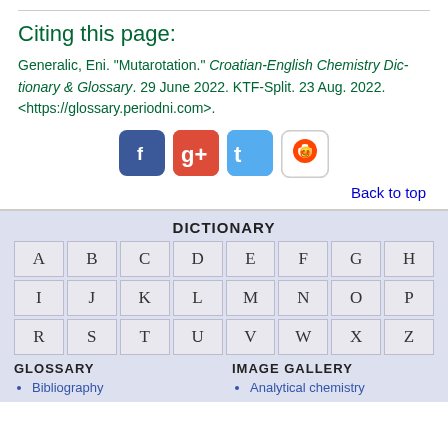Citing this page:
Generalic, Eni. "Mutarotation." Croatian-English Chemistry Dictionary & Glossary. 29 June 2022. KTF-Split. 23 Aug. 2022. <https://glossary.periodni.com>.
[Figure (other): Social share buttons: Facebook, Google+, Twitter, Reddit]
Back to top
DICTIONARY
| A | B | C | D | E | F | G | H |
| I | J | K | L | M | N | O | P |
| R | S | T | U | V | W | X | Z |
GLOSSARY
IMAGE GALLERY
Bibliography
Analytical chemistry